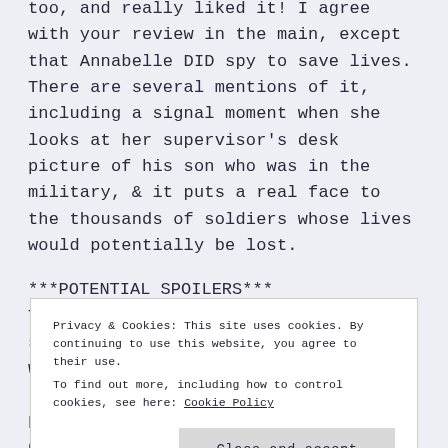too, and really liked it! I agree with your review in the main, except that Annabelle DID spy to save lives. There are several mentions of it, including a signal moment when she looks at her supervisor's desk picture of his son who was in the military, & it puts a real face to the thousands of soldiers whose lives would potentially be lost.
***POTENTIAL SPOILERS***
The job was offered in an effort to sweeten the truly awful position they were forcing her into –
Privacy & Cookies: This site uses cookies. By continuing to use this website, you agree to their use.
To find out more, including how to control cookies, see here: Cookie Policy
Close and accept
permanently out of a job with the govt, but